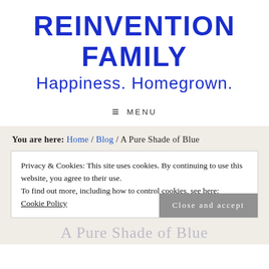REINVENTION FAMILY
Happiness. Homegrown.
≡  MENU
You are here: Home / Blog / A Pure Shade of Blue
Privacy & Cookies: This site uses cookies. By continuing to use this website, you agree to their use.
To find out more, including how to control cookies, see here:
Cookie Policy
Close and accept
A Pure Shade of Blue